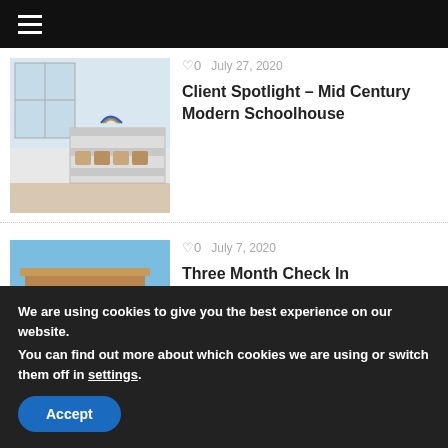Navigation menu
[Figure (photo): Interior photo of a classroom/schoolhouse with shelving units and baskets]
♡ 0   July 27, 2020
Client Spotlight – Mid Century Modern Schoolhouse
[Figure (photo): Exterior photo of a brick building under construction against a blue sky]
♡ 0   July 7, 2020
Three Month Check In
We are using cookies to give you the best experience on our website.
You can find out more about which cookies we are using or switch them off in settings.
Accept